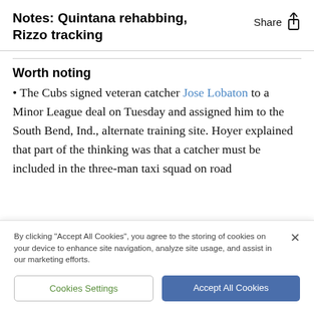Notes: Quintana rehabbing, Rizzo tracking
Worth noting
• The Cubs signed veteran catcher Jose Lobaton to a Minor League deal on Tuesday and assigned him to the South Bend, Ind., alternate training site. Hoyer explained that part of the thinking was that a catcher must be included in the three-man taxi squad on road
By clicking "Accept All Cookies", you agree to the storing of cookies on your device to enhance site navigation, analyze site usage, and assist in our marketing efforts.
Cookies Settings | Accept All Cookies